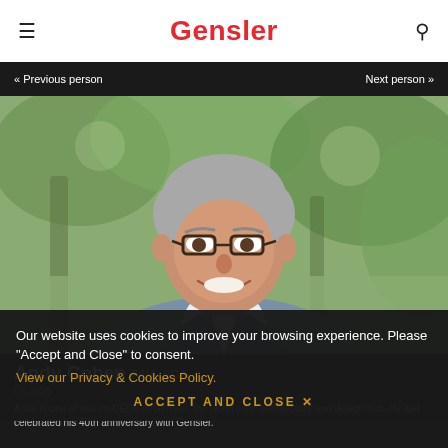Gensler
« Previous person   Next person »
[Figure (photo): Professional headshot of Andy Cohen, a man with grey hair and glasses wearing a grey blazer and white shirt, photographed outdoors with blurred green trees in background]
Andy Cohen FAIA, IIDA
Co-CEO
Andy is one of two co-CEOs of Gensler, the world's top architecture and design firm. He just celebrated his 40th anniversary with Gensler.
Our website uses cookies to improve your browsing experience. Please "Accept and Close" to consent.
View our Privacy & Cookies Policy.
ACCEPT AND CLOSE ✕